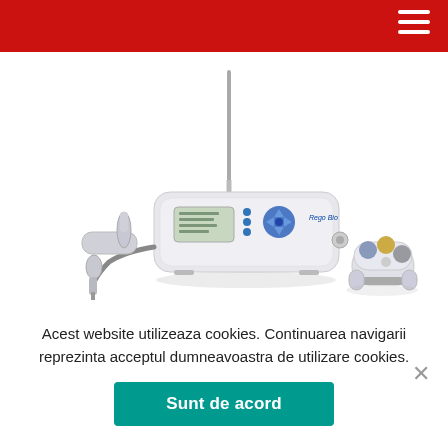[Figure (photo): Dental equipment product photo showing a white electronic dental motor control unit with LCD display and blue navigation buttons, with a thin antenna/cable extending upward, dental handpiece attachments on the left, and a white wireless foot pedal controller with colored buttons (blue, yellow, grey) on the right.]
Acest website utilizeaza cookies. Continuarea navigarii reprezinta acceptul dumneavoastra de utilizare cookies.
Sunt de acord